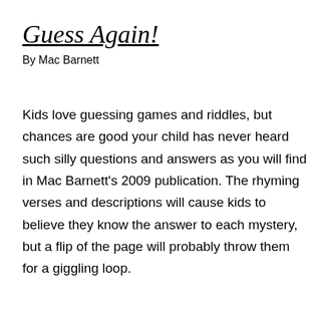Guess Again!
By Mac Barnett
Kids love guessing games and riddles, but chances are good your child has never heard such silly questions and answers as you will find in Mac Barnett's 2009 publication. The rhyming verses and descriptions will cause kids to believe they know the answer to each mystery, but a flip of the page will probably throw them for a giggling loop.